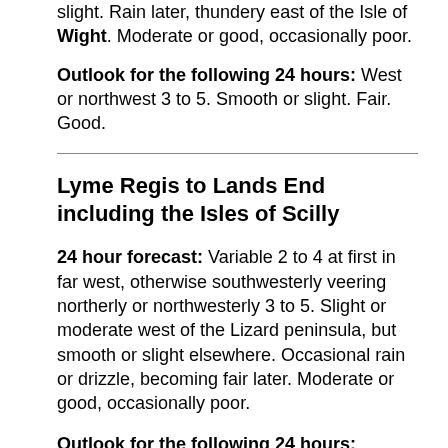slight. Rain later, thundery east of the Isle of Wight. Moderate or good, occasionally poor.
Outlook for the following 24 hours: West or northwest 3 to 5. Smooth or slight. Fair. Good.
Lyme Regis to Lands End including the Isles of Scilly
24 hour forecast: Variable 2 to 4 at first in far west, otherwise southwesterly veering northerly or northwesterly 3 to 5. Slight or moderate west of the Lizard peninsula, but smooth or slight elsewhere. Occasional rain or drizzle, becoming fair later. Moderate or good, occasionally poor.
Outlook for the following 24 hours: Northwesterly, backing westerly for a time 3 to 5, becoming variable 2 to 4 later in east. Slight or moderate west of the Lizard peninsula, but smooth or slight elsewhere. Rain later in west. Good, occasionally moderate later in west.